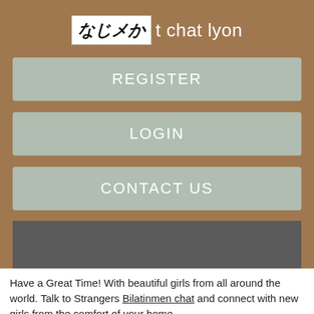なじメか t chat lyon
REGISTER
LOGIN
CONTACT US
[Figure (screenshot): Gray banner/image placeholder area]
Have a Great Time! With beautiful girls from all around the world. Talk to Strangers Bilatinmen chat and connect with new girls from the comfort of your home.
Product details
Live Video Chat Live video chat with girls. Anonymous and